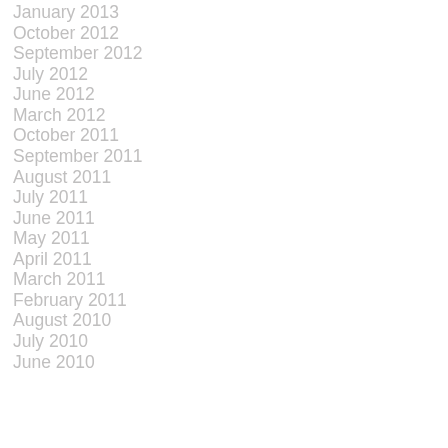January 2013
October 2012
September 2012
July 2012
June 2012
March 2012
October 2011
September 2011
August 2011
July 2011
June 2011
May 2011
April 2011
March 2011
February 2011
August 2010
July 2010
June 2010